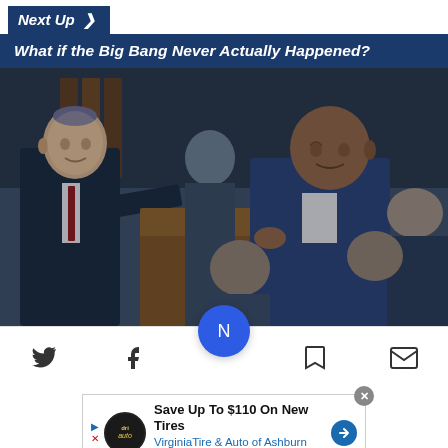Next Up >
What if the Big Bang Never Actually Happened?
[Figure (photo): Two men in suits shaking hands in what appears to be a parliament chamber. The man on the left wears a kippah and a dark suit with a red tie. The man on the right wears a blue suit. Several other figures are visible in the background.]
[Figure (infographic): Social media and action toolbar with Twitter, Facebook, a blue circular news icon, bookmark, and email icons.]
[Figure (infographic): Advertisement banner: Save Up To $110 On New Tires - VirginiaTire & Auto of Ashburn Fa.]